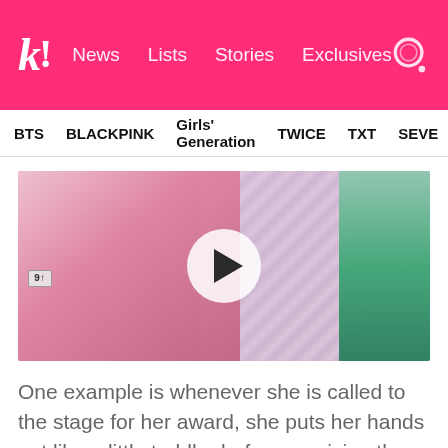k! News  Lists  Stories  Exclusives
BTS  BLACKPINK  Girls' Generation  TWICE  TXT  SEVE
[Figure (photo): Video thumbnail showing a young woman smiling and holding up her hand, with a play button overlay. Another person in green is partially visible on the right.]
One example is whenever she is called to the stage for her award, she puts her hands out like a little toddler before receiving the award.
[Figure (photo): Partial view of a bottom image showing a blue-toned scene with a microphone.]